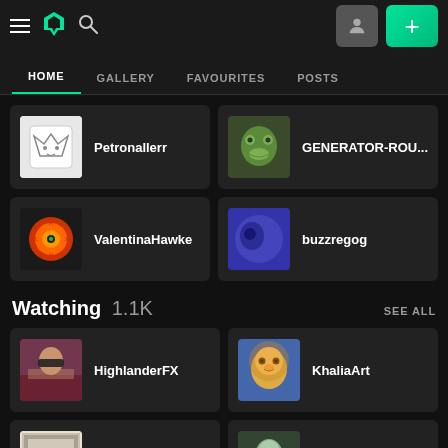DeviantArt navigation bar with hamburger menu, logo, search, user and plus buttons
HOME | GALLERY | FAVOURITES | POSTS
Petronallerr
GENERATOR-ROU...
ValentinaHawke
buzzregog
Watching 1.1K — SEE ALL
HighlanderFX
KhaliaArt
mdhicks1
MightyOtaking